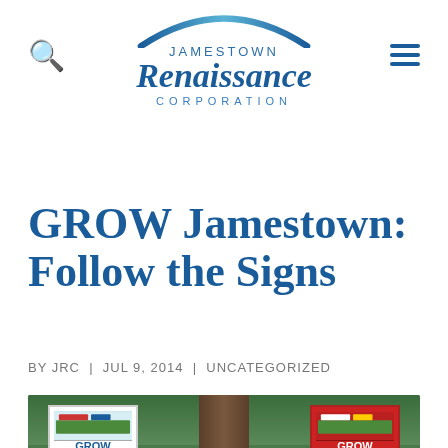Jamestown Renaissance Corporation
GROW Jamestown: Follow the Signs
BY JRC | JUL 9, 2014 | UNCATEGORIZED
[Figure (photo): Photo of GROW Jamestown signs placed near a large tree trunk, two signs visible — one with blue text on white background and one with white text on red background, both showing the GROW Jamestown logo and signage.]